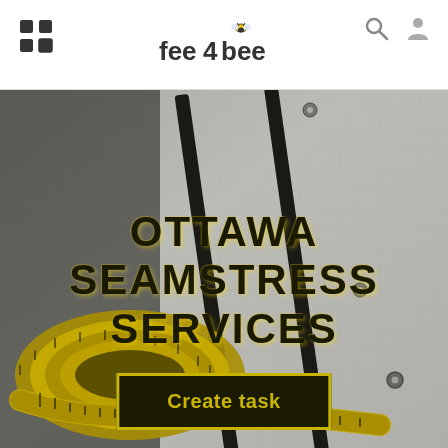fee4bee — navigation header with logo, search icon, user icon
[Figure (photo): Hero image of a yellow measuring tape coiled on a grey fabric surface with black metal rails/sliders, used as background for Ottawa Seamstress Services page]
OTTAWA SEAMSTRESS SERVICES
Create task